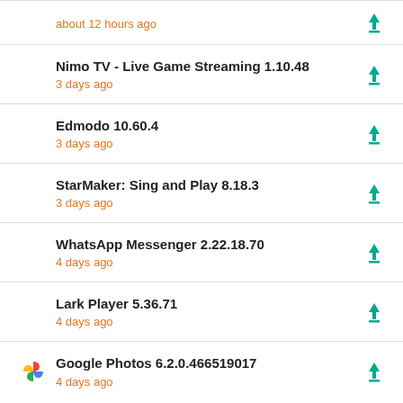about 12 hours ago
Nimo TV - Live Game Streaming 1.10.48 — 3 days ago
Edmodo 10.60.4 — 3 days ago
StarMaker: Sing and Play 8.18.3 — 3 days ago
WhatsApp Messenger 2.22.18.70 — 4 days ago
Lark Player 5.36.71 — 4 days ago
Google Photos 6.2.0.466519017 — 4 days ago